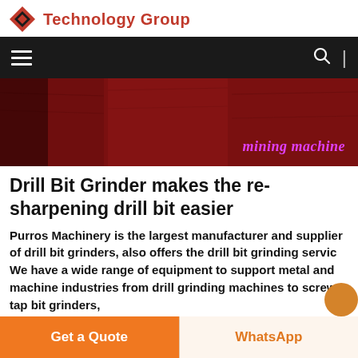Technology Group
[Figure (screenshot): Dark navigation bar with hamburger menu icon on left, search icon and vertical divider on right, on black background]
[Figure (photo): Red/dark red wooden panel background with 'mining machine' text in pink/magenta italic font in lower right]
Drill Bit Grinder makes the re-sharpening drill bit easier
Purros Machinery is the largest manufacturer and supplier of drill bit grinders, also offers the drill bit grinding servic We have a wide range of equipment to support metal and machine industries from drill grinding machines to screw tap bit grinders,
Get a Quote
WhatsApp